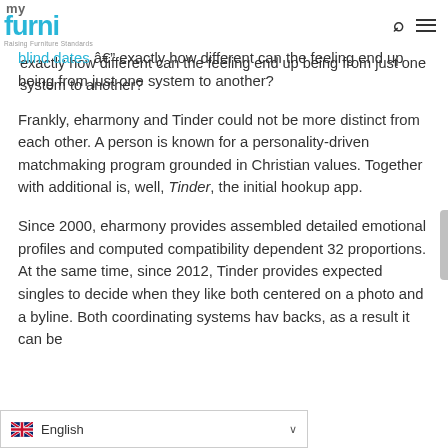myfurni - Raising Furniture Standards
eharmony vs Tinder, while believe, "what is the huge difference…ou sign up, you chat, you go on guyliner guardian blind dates â exactly how different can the feeling end up being from just one system to another?
Frankly, eharmony and Tinder could not be more distinct from each other. A person is known for a personality-driven matchmaking program grounded in Christian values. Together with additional is, well, Tinder, the initial hookup app.
Since 2000, eharmony provides assembled detailed emotional profiles and computed compatibility dependent 32 proportions. At the same time, since 2012, Tinder provides expected singles to decide when they like both centered on a photo and a byline. Both coordinating systems hav... backs, as a result it can be
English